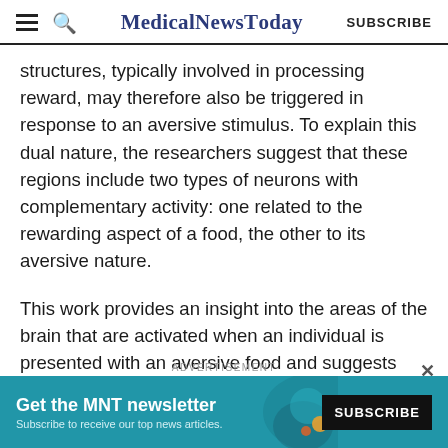MedicalNewsToday SUBSCRIBE
structures, typically involved in processing reward, may therefore also be triggered in response to an aversive stimulus. To explain this dual nature, the researchers suggest that these regions include two types of neurons with complementary activity: one related to the rewarding aspect of a food, the other to its aversive nature.
This work provides an insight into the areas of the brain that are activated when an individual is presented with an aversive food and suggests that the reward circuit may also encode disgust.
[Figure (other): Advertisement banner for MNT newsletter subscription with teal/dark blue background. Text: 'Get the MNT newsletter' and 'Subscribe to receive our top news articles.' with a SUBSCRIBE button.]